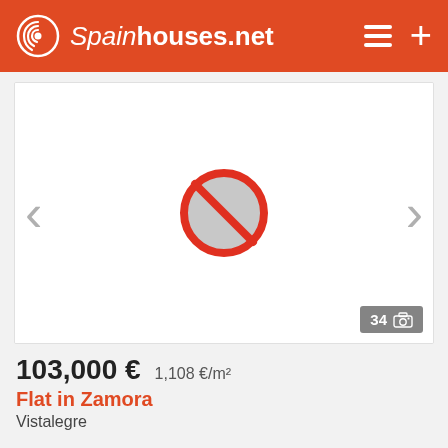Spainhouses.net
[Figure (photo): Property image placeholder with a blocked/unavailable image icon (red circle with diagonal slash) and navigation arrows on left and right. Photo count badge showing 34 photos.]
103,000 €   1,108 €/m²
Flat in Zamora
Vistalegre